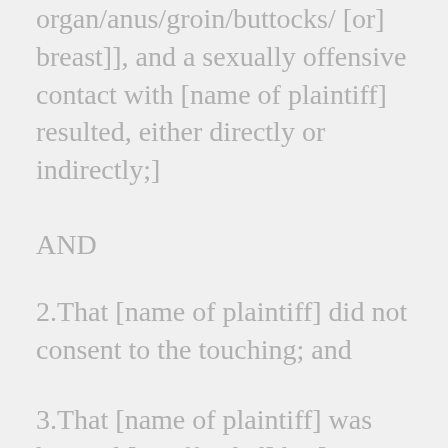organ/anus/groin/buttocks/ [or] breast]], and a sexually offensive contact with [name of plaintiff] resulted, either directly or indirectly;]
AND
2.That [name of plaintiff] did not consent to the touching; and
3.That [name of plaintiff] was harmed [or offended] by [name of defendant]'s conduct.
["Offensive contact" means contact that offends a reasonable sense of personal